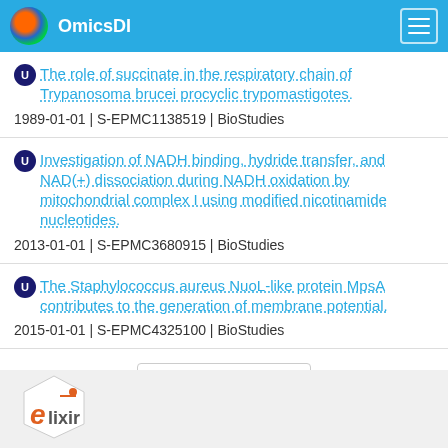OmicsDI
The role of succinate in the respiratory chain of Trypanosoma brucei procyclic trypomastigotes.
1989-01-01 | S-EPMC1138519 | BioStudies
Investigation of NADH binding, hydride transfer, and NAD(+) dissociation during NADH oxidation by mitochondrial complex I using modified nicotinamide nucleotides.
2013-01-01 | S-EPMC3680915 | BioStudies
The Staphylococcus aureus NuoL-like protein MpsA contributes to the generation of membrane potential.
2015-01-01 | S-EPMC4325100 | BioStudies
Load More
[Figure (logo): Elixir logo at bottom left]